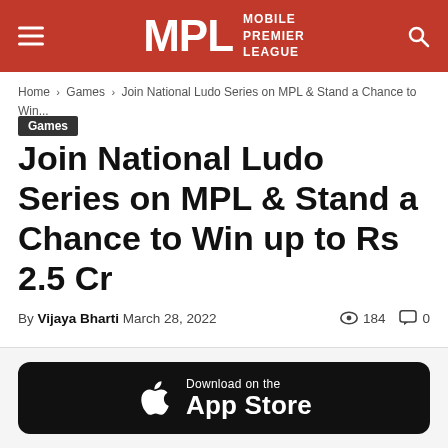MPL MOBILE PREMIER LEAGUE
Home › Games › Join National Ludo Series on MPL & Stand a Chance to Win...
Games
Join National Ludo Series on MPL & Stand a Chance to Win up to Rs 2.5 Cr
By Vijaya Bharti March 28, 2022  184  0
[Figure (screenshot): Download on the App Store button (black rounded rectangle with Apple logo)]